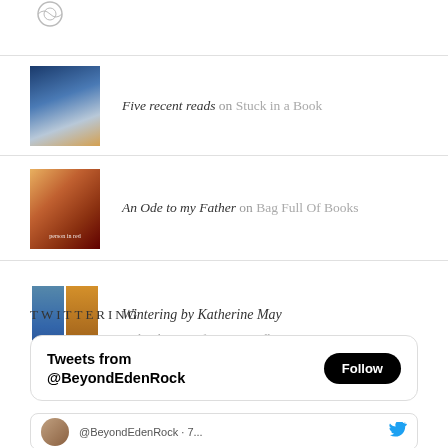[Figure (illustration): Circular icon/logo at top left]
Five recent reads on Stuck in a Book
An Ode to my Father on Bag Full Of Books
Wintering by Katherine May on booksaremyfavouriteandbest
TWITTERING
[Figure (screenshot): Twitter widget showing Tweets from @BeyondEdenRock with Follow button]
[Figure (screenshot): Partial tweet row with avatar and Twitter bird icon]